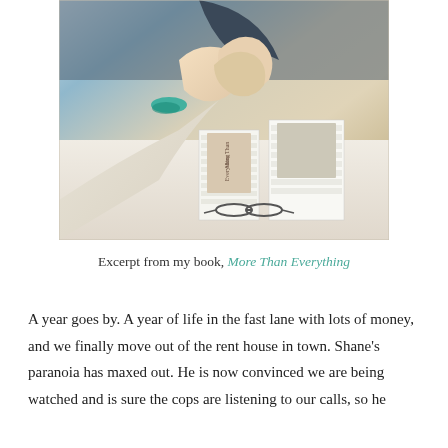[Figure (photo): A photo showing two people clasping hands across a table covered with stacks of books. One person wears a green bracelet. A pair of glasses rests on the table near the books.]
Excerpt from my book, More Than Everything
A year goes by. A year of life in the fast lane with lots of money, and we finally move out of the rent house in town. Shane's paranoia has maxed out. He is now convinced we are being watched and is sure the cops are listening to our calls, so he